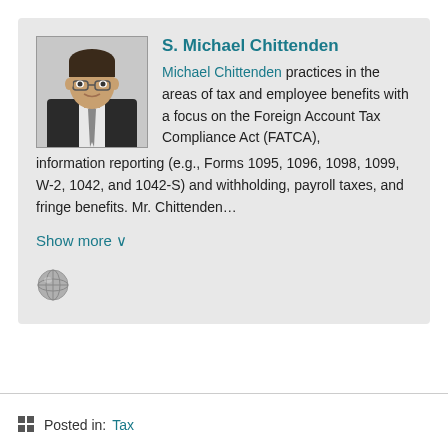S. Michael Chittenden
Michael Chittenden practices in the areas of tax and employee benefits with a focus on the Foreign Account Tax Compliance Act (FATCA), information reporting (e.g., Forms 1095, 1096, 1098, 1099, W-2, 1042, and 1042-S) and withholding, payroll taxes, and fringe benefits. Mr. Chittenden…
Show more ∨
[Figure (photo): Headshot photo of S. Michael Chittenden, a man wearing glasses and a suit with tie]
[Figure (other): Globe/website icon]
Posted in: Tax